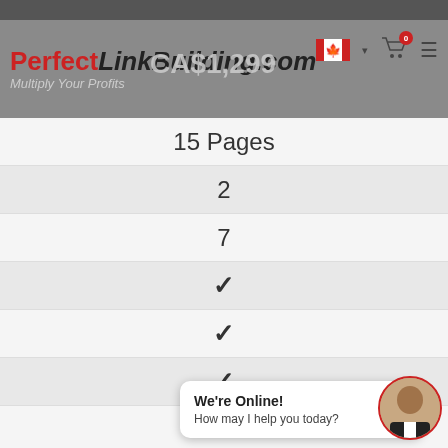PerfectLinkBuilding.com — Multiply Your Profits — CA$1,299
| 15 Pages |
| 2 |
| 7 |
| ✓ |
| ✓ |
| ✓ |
| ✓ |
| 3 |
We're Online! How may I help you today?